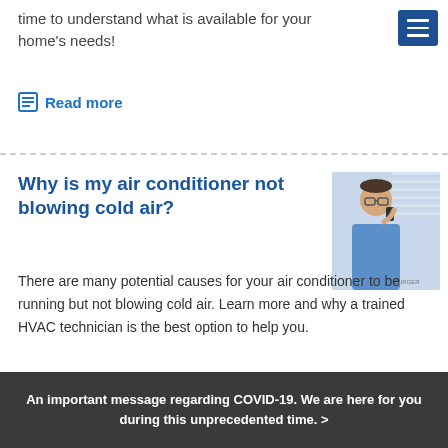time to understand what is available for your home's needs!
Read more
Why is my air conditioner not blowing cold air?
[Figure (photo): Man in glasses talking on phone, wearing blue shirt, near window blinds]
There are many potential causes for your air conditioner to be running but not blowing cold air. Learn more and why a trained HVAC technician is the best option to help you.
An important message regarding COVID-19. We are here for you during this unprecedented time. >